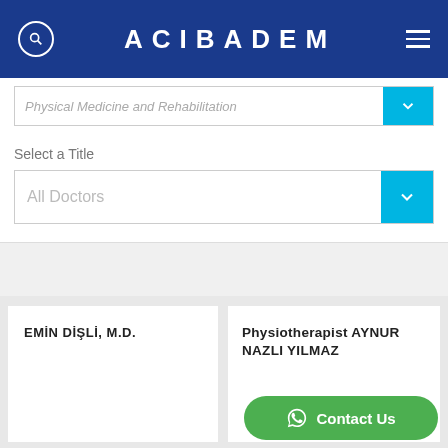ACIBADEM
Physical Medicine and Rehabilitation
Select a Title
All Doctors
EMIN DİŞLI, M.D.
Physiotherapist AYNUR NAZLI YILMAZ
Contact Us